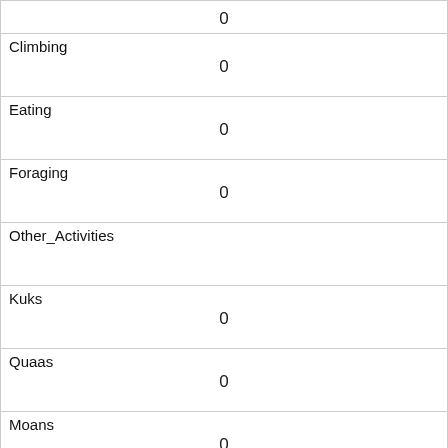| 0 |
| Climbing | 0 |
| Eating | 0 |
| Foraging | 0 |
| Other_Activities |  |
| Kuks | 0 |
| Quaas | 0 |
| Moans | 0 |
| Tail_flags | 0 |
| Tail_twitches | 0 |
| Approaches | 0 |